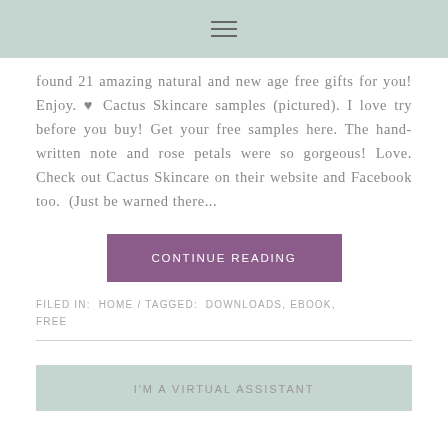≡
found 21 amazing natural and new age free gifts for you! Enjoy. ♥ Cactus Skincare samples (pictured). I love try before you buy! Get your free samples here. The hand-written note and rose petals were so gorgeous! Love. Check out Cactus Skincare on their website and Facebook too.  (Just be warned there...
CONTINUE READING
FILED IN: HOME / TAGGED: DOWNLOADS, EBOOK, FREE
I'M A VIRTUAL ASSISTANT